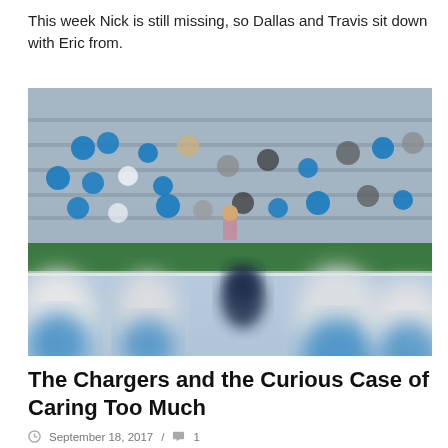This week Nick is still missing, so Dallas and Travis sit down with Eric from.
[Figure (photo): A half-empty stadium with fans in LA Chargers blue and gold jerseys in the stands, and out-of-focus football players in white helmets and uniforms in the foreground.]
The Chargers and the Curious Case of Caring Too Much
September 18, 2017  /  1